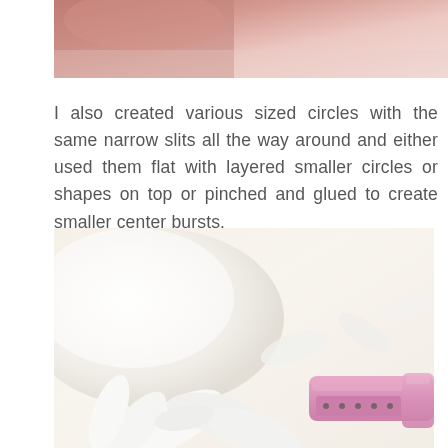[Figure (photo): Top portion of a photo showing a hand or fingers holding paper craft materials, cropped at top of page]
I also created various sized circles with the same narrow slits all the way around and either used them flat with layered smaller circles or shapes on top or pinched and glued to create smaller center bursts.
[Figure (photo): Photo showing white paper flower/petal craft pieces arranged on a light background, with a pink stapler or craft tool visible in the lower right portion of the image]